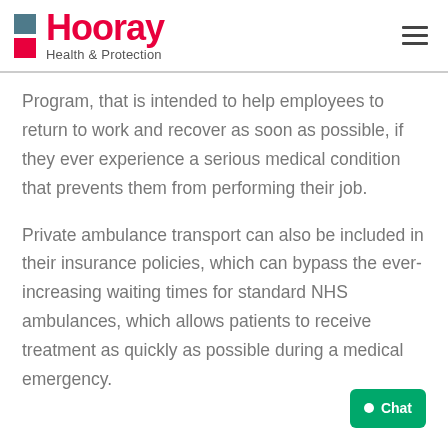Hooray Health & Protection
Program, that is intended to help employees to return to work and recover as soon as possible, if they ever experience a serious medical condition that prevents them from performing their job.
Private ambulance transport can also be included in their insurance policies, which can bypass the ever-increasing waiting times for standard NHS ambulances, which allows patients to receive treatment as quickly as possible during a medical emergency.